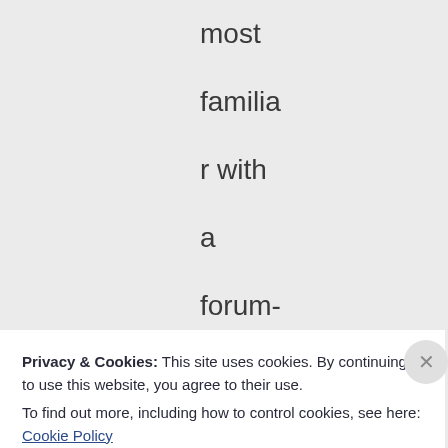most familiar with a forum-style thread layout where the most
Privacy & Cookies: This site uses cookies. By continuing to use this website, you agree to their use.
To find out more, including how to control cookies, see here: Cookie Policy
Close and accept